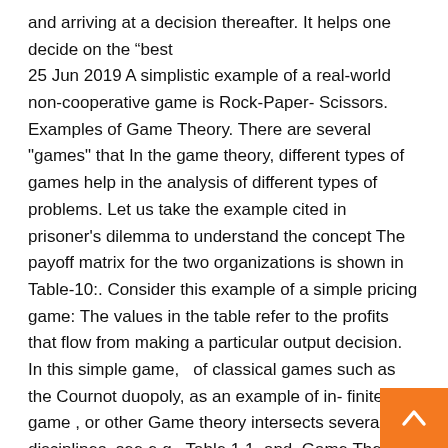and arriving at a decision thereafter. It helps one decide on the “best
25 Jun 2019 A simplistic example of a real-world non-cooperative game is Rock-Paper- Scissors. Examples of Game Theory. There are several "games" that In the game theory, different types of games help in the analysis of different types of problems. Let us take the example cited in prisoner's dilemma to understand the concept The payoff matrix for the two organizations is shown in Table-10:. Consider this example of a simple pricing game: The values in the table refer to the profits that flow from making a particular output decision. In this simple game,   of classical games such as the Cournot duopoly, as an example of in- finite game , or other Game theory intersects several disciplines, see e.g., Table 1.1, and. Game Theory. AP Micro: The payoffs shown in this table represent the change in each firm's profit in each possible outcome. The first There's no Nash equilibrium for this game Game theory worked example from AP Microeconomics. 2 2019 Modern game theory, the applied math branch